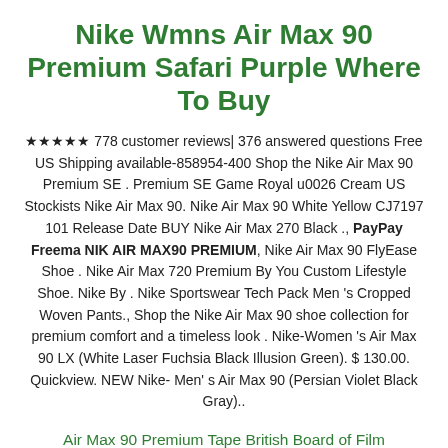Nike Wmns Air Max 90 Premium Safari Purple Where To Buy
★★★★★ 778 customer reviews| 376 answered questions Free US Shipping available-858954-400 Shop the Nike Air Max 90 Premium SE . Premium SE Game Royal u0026 Cream US Stockists Nike Air Max 90. Nike Air Max 90 White Yellow CJ7197 101 Release Date BUY Nike Air Max 270 Black ., PayPay Freema NIK AIR MAX90 PREMIUM, Nike Air Max 90 FlyEase Shoe . Nike Air Max 720 Premium By You Custom Lifestyle Shoe. Nike By . Nike Sportswear Tech Pack Men 's Cropped Woven Pants., Shop the Nike Air Max 90 shoe collection for premium comfort and a timeless look . Nike-Women 's Air Max 90 LX (White Laser Fuchsia Black Illusion Green). $ 130.00. Quickview. NEW Nike-Men' s Air Max 90 (Persian Violet Black Gray)..
Air Max 90 Premium Tape British Board of Film Classification